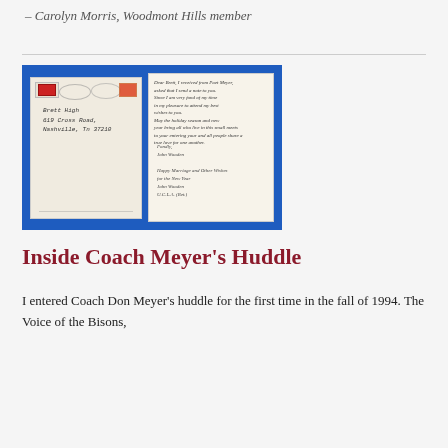– Carolyn Morris, Woodmont Hills member
[Figure (photo): Photo of a handwritten envelope addressed to Brett High, 619 Cross Road, Nashville, TN 37210, and a handwritten letter on cream paper, both displayed on a blue background.]
Inside Coach Meyer's Huddle
I entered Coach Don Meyer's huddle for the first time in the fall of 1994. The Voice of the Bisons,